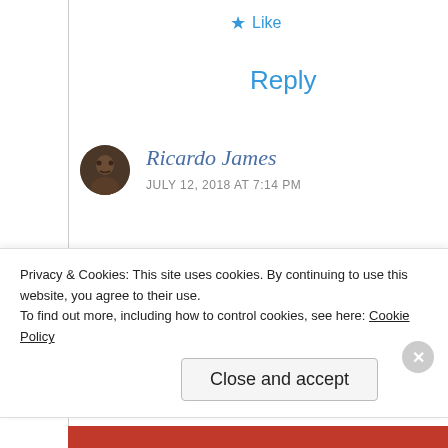★ Like
Reply
[Figure (photo): User avatar photo of Ricardo James - dark circular profile image]
Ricardo James
JULY 12, 2018 AT 7:14 PM
Yes he does! His b... pleaded the blood... month old daught... ...his ...or
Privacy & Cookies: This site uses cookies. By continuing to use this website, you agree to their use.
To find out more, including how to control cookies, see here: Cookie Policy
Close and accept